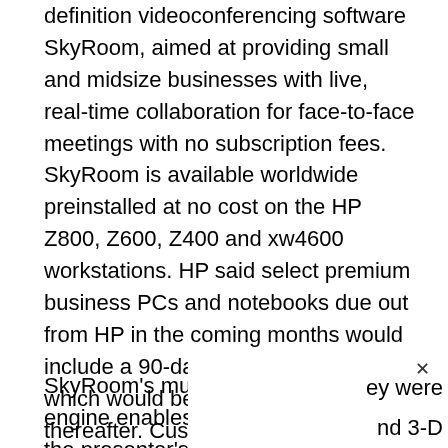definition videoconferencing software SkyRoom, aimed at providing small and midsize businesses with live, real-time collaboration for face-to-face meetings with no subscription fees. SkyRoom is available worldwide preinstalled at no cost on the HP Z800, Z600, Z400 and xw4600 workstations. HP said select premium business PCs and notebooks due out from HP in the coming months would include a 90-day trial of HP SkyRoom, which would be available for purchase thereafter. Customers using current HP workstations, desktops, notebooks or non-HP systems can purchase HP SkyRoom for $149.
SkyRoom's multithreaded video engine enables all participants to see the presenter's display and each other through a multiway videoconferencing session. The software's image engine gives remote users a view of the host pre[...] ey were using a l[...] nd 3-D